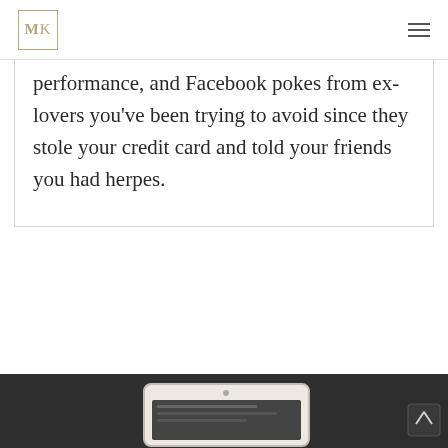MK
performance, and Facebook pokes from ex-lovers you've been trying to avoid since they stole your credit card and told your friends you had herpes.
[Figure (screenshot): Dark footer area with a tablet/laptop device mockup showing a screen preview at the bottom of the page.]